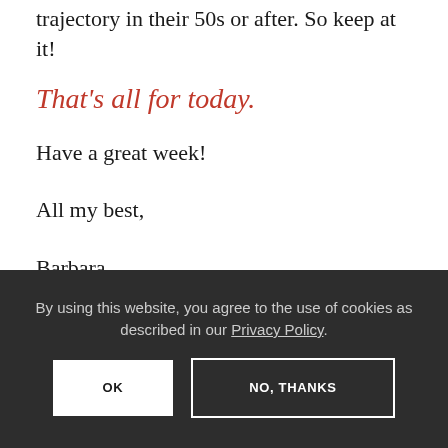trajectory in their 50s or after. So keep at it!
That's all for today.
Have a great week!
All my best,
Barbara
By using this website, you agree to the use of cookies as described in our Privacy Policy.
OK
NO, THANKS